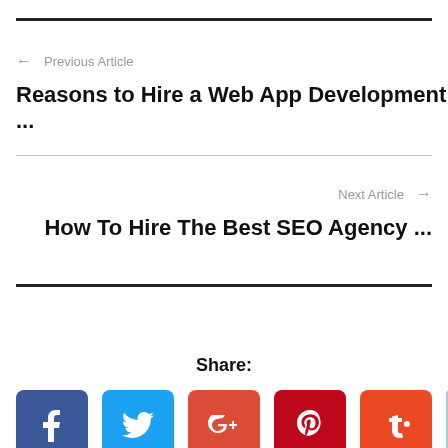← Previous Article
Reasons to Hire a Web App Development ...
Next Article →
How To Hire The Best SEO Agency ...
Share:
[Figure (infographic): Social share buttons: Facebook, Twitter, Google+, Pinterest, StumbleUpon, and a scroll-to-top button]